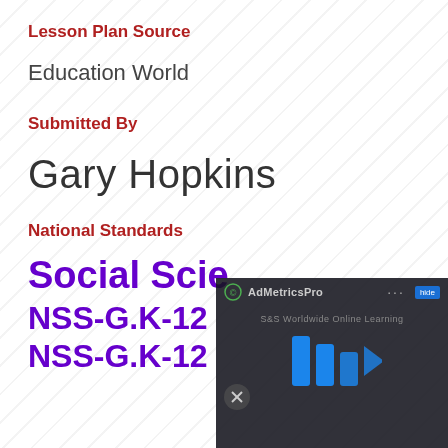Lesson Plan Source
Education World
Submitted By
Gary Hopkins
National Standards
Social Scie...
NSS-G.K-12...
NSS-G.K-12...
[Figure (screenshot): AdMetricsPro advertisement overlay with play button and mute icon on dark background, showing S&S Worldwide Online Learning]